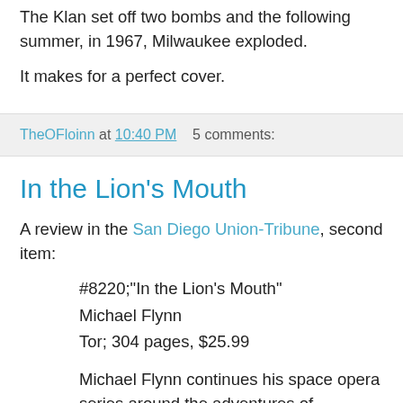The Klan set off two bombs and the following summer, in 1967, Milwaukee exploded.
It makes for a perfect cover.
TheOFloinn at 10:40 PM   5 comments:
In the Lion's Mouth
A review in the San Diego Union-Tribune, second item:
#8220;"In the Lion's Mouth"
Michael Flynn
Tor; 304 pages, $25.99
Michael Flynn continues his space opera series around the adventures of Donovan buigh — no typo; these characters often speak Gaelactic — and his former employer, the Confederation of...